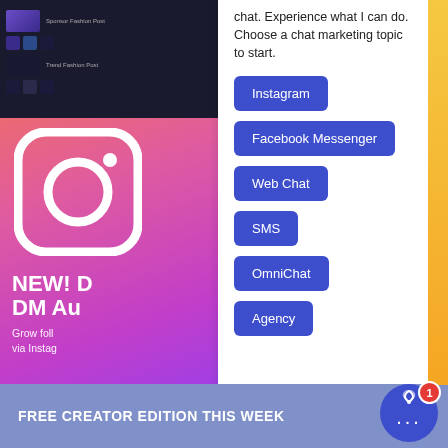[Figure (screenshot): Top-left area showing a dark UI screenshot strip with thumbnail images of social media posts]
[Figure (illustration): Left side Instagram-style gradient background (pink/purple/orange) with Instagram logo icon (white rounded square with circle) and text 'NEW! DM Au...' and 'Grow foll... via Instag...']
chat. Experience what I can do. Choose a chat marketing topic to start.
Instagram
Facebook Messenger
Web Chat
SMS
OmniChat
Agency
FREE CREATOR EDITION THIS WEEK
[Figure (illustration): Chatbot icon: blue circle with signal/broadcast icon on top and three dots (ellipsis) in center, with red badge showing number 1]